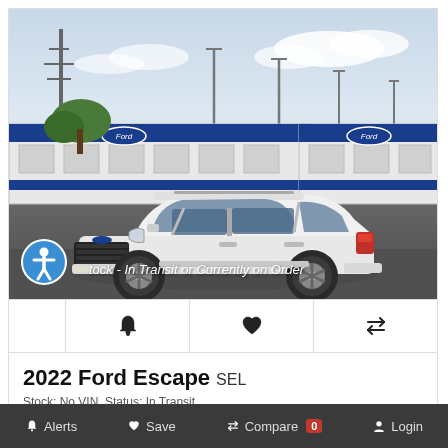[Figure (photo): White 2022 Ford Escape SEL SUV parked in front of blue and white Ford transport rail cars, with a cloudy sky background. Text overlay reads 'Stock - In Transit or Currently on Order'. Accessibility icon visible bottom-left.]
2022 Ford Escape SEL
Stock: No VIN, Status: In Transit
Alerts  Save  Compare 0  Login